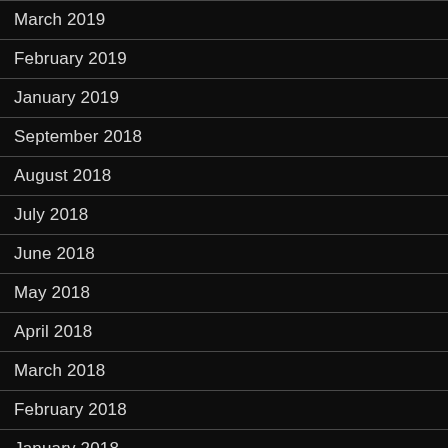March 2019
February 2019
January 2019
September 2018
August 2018
July 2018
June 2018
May 2018
April 2018
March 2018
February 2018
January 2018